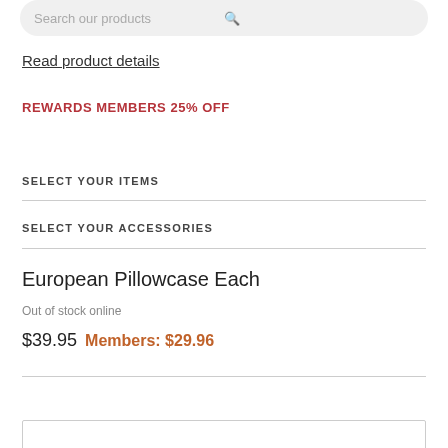Search our products
Read product details
REWARDS MEMBERS 25% OFF
SELECT YOUR ITEMS
SELECT YOUR ACCESSORIES
European Pillowcase Each
Out of stock online
$39.95 Members: $29.96